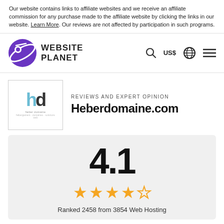Our website contains links to affiliate websites and we receive an affiliate commission for any purchase made to the affiliate website by clicking the links in our website. Learn More. Our reviews are not affected by participation in such programs.
[Figure (logo): Website Planet logo - purple planet icon with 'WEBSITE PLANET' text and navigation icons (search, US$, globe, menu)]
[Figure (logo): Heberdomaine.com company logo - stylized 'hd' letters in blue and dark grey]
REVIEWS AND EXPERT OPINION
Heberdomaine.com
4.1
★★★★☆
Ranked 2458 from 3854 Web Hosting